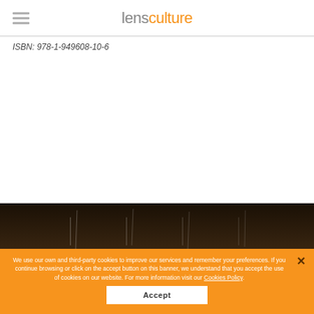lensculture
ISBN: 978-1-949608-10-6
[Figure (photo): Dark background photo with faint vertical light streaks, appears to be a nighttime or dark scene]
We use our own and third-party cookies to improve our services and remember your preferences. If you continue browsing or click on the accept button on this banner, we understand that you accept the use of cookies on our website. For more information visit our Cookies Policy.
Accept